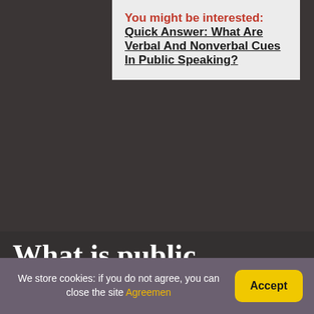You might be interested: Quick Answer: What Are Verbal And Nonverbal Cues In Public Speaking?
What is public speaking and why is it important?
It allows us to form connections, influence decisions, and motivate change. Without communication skills, the ability to progress in the working world and in life, itself, would be nearly impossible. Public speaking is one of the
We store cookies: if you do not agree, you can close the site Agreemen